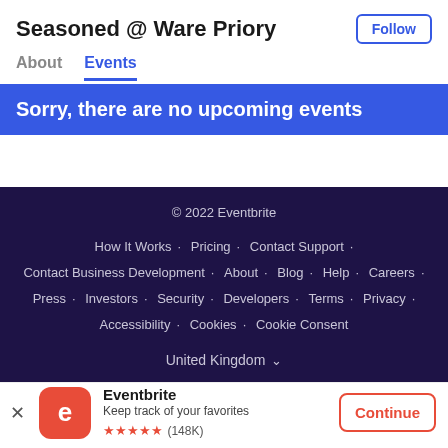Seasoned @ Ware Priory
About  Events
Sorry, there are no upcoming events
© 2022 Eventbrite
How It Works · Pricing · Contact Support · Contact Business Development · About · Blog · Help · Careers · Press · Investors · Security · Developers · Terms · Privacy · Accessibility · Cookies · Cookie Consent
United Kingdom
Eventbrite
Keep track of your favorites
★★★★★ (148K)